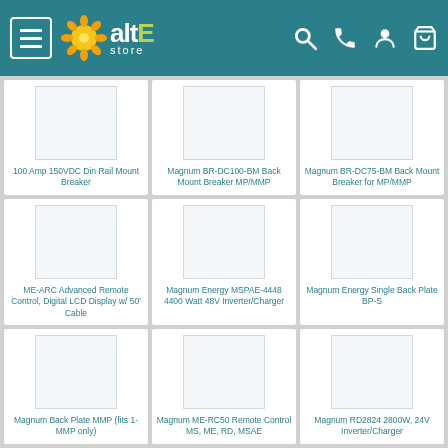[Figure (screenshot): altE store website header with hamburger menu, sun/gear logo, brand name, and navigation icons (search, phone, account, cart)]
100 Amp 150VDC Din Rail Mount Breaker
Magnum BR-DC100-BM Back Mount Breaker MP/MMP
Magnum BR-DC75-BM Back Mount Breaker for MP/MMP
ME-ARC Advanced Remote Control, Digital LCD Display w/ 50' Cable
Magnum Energy MSPAE-4448 4400 Watt 48V Inverter/Charger
Magnum Energy Single Back Plate BP-S
Magnum Back Plate MMP (fits 1-MMP only)
Magnum ME-RC50 Remote Control MS, ME, RD, MSAE
Magnum RD2824 2800W, 24V Inverter/Charger